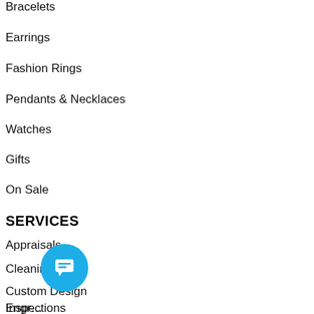Bracelets
Earrings
Fashion Rings
Pendants & Necklaces
Watches
Gifts
On Sale
SERVICES
Appraisals
Cleanings
Custom Design
Engr…
Inspections